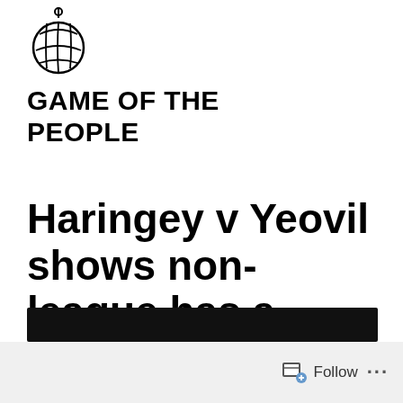[Figure (logo): Game of the People logo: a yarn/football ball hanging from a string]
GAME OF THE PEOPLE
Haringey v Yeovil shows non-league has a racism problem
[Figure (photo): Dark image bar at bottom of article preview]
Follow ...